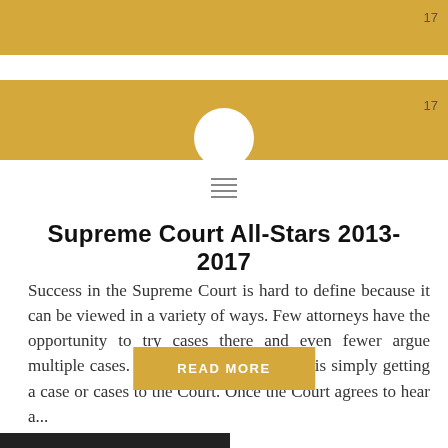17
17
Supreme Court All-Stars 2013-2017
Success in the Supreme Court is hard to define because it can be viewed in a variety of ways. Few attorneys have the opportunity to try cases there and even fewer argue multiple cases.  Part of success therefore is simply getting a case or cases to the Court. Once the Court agrees to hear a...
READ MORE